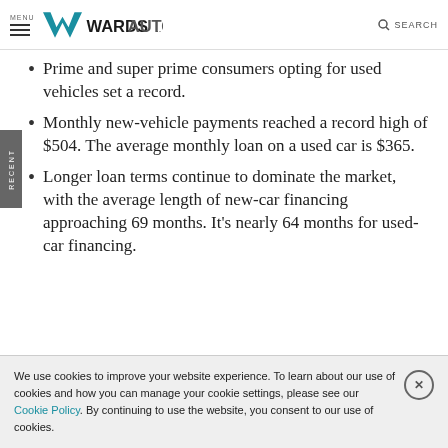MENU | WardsAuto | SEARCH
Prime and super prime consumers opting for used vehicles set a record.
Monthly new-vehicle payments reached a record high of $504. The average monthly loan on a used car is $365.
Longer loan terms continue to dominate the market, with the average length of new-car financing approaching 69 months. It’s nearly 64 months for used- car financing.
We use cookies to improve your website experience. To learn about our use of cookies and how you can manage your cookie settings, please see our Cookie Policy. By continuing to use the website, you consent to our use of cookies.